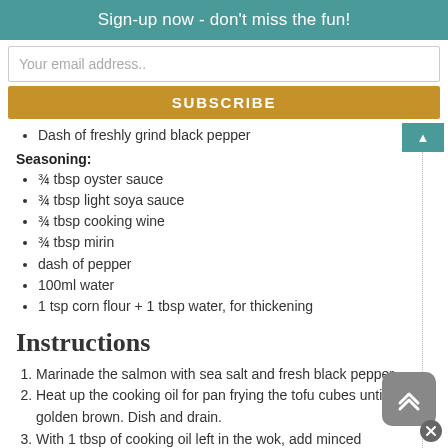Sign-up now - don't miss the fun!
Your email address..
SUBSCRIBE
Dash of freshly grind black pepper
Seasoning:
¾ tbsp oyster sauce
¾ tbsp light soya sauce
¾ tbsp cooking wine
¾ tbsp mirin
dash of pepper
100ml water
1 tsp corn flour + 1 tbsp water, for thickening
Instructions
Marinade the salmon with sea salt and fresh black pepper.
Heat up the cooking oil for pan frying the tofu cubes until golden brown. Dish and drain.
With 1 tbsp of cooking oil left in the wok, add minced garlic, shimeiji mushrooms and the white parts of spring onion.